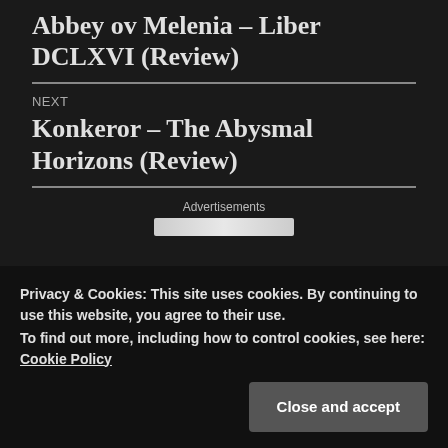Abbey ov Melenia – Liber DCLXVI (Review)
NEXT
Konkeror – The Abysmal Horizons (Review)
Advertisements
Privacy & Cookies: This site uses cookies. By continuing to use this website, you agree to their use.
To find out more, including how to control cookies, see here: Cookie Policy
Close and accept
5-star reviews